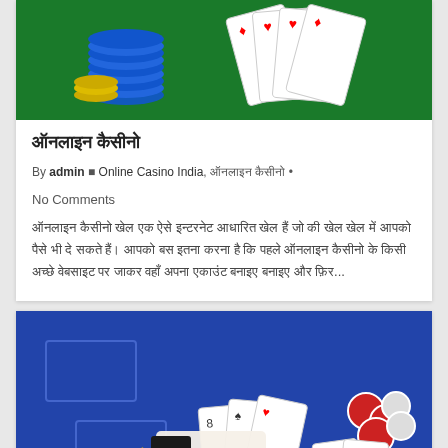[Figure (photo): Casino chips stacked on green felt table with playing cards fanned out]
ऑनलाइन कैसीनो
By admin  Online Casino India, ऑनलाइन कैसीनो • No Comments
ऑनलाइन कैसीनो खेल एक ऐसे इन्टरनेट आधारित खेल हैं जो की खेल खेल में आपको पैसे भी दे सकते हैं। आपको बस इतना करना है कि पहले ऑनलाइन कैसीनो के किसी अच्छे वेबसाइट पर जाकर वहाँ अपना एकाउंट बनाइए बनाइए और फ़िर...
[Figure (photo): Blackjack table with dealer's hand placing cards on blue felt, chips on right side]